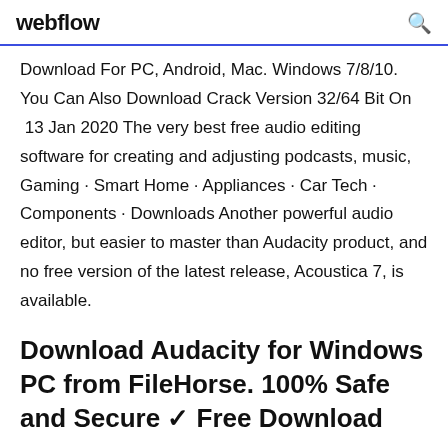webflow
Download For PC, Android, Mac. Windows 7/8/10. You Can Also Download Crack Version 32/64 Bit On  13 Jan 2020 The very best free audio editing software for creating and adjusting podcasts, music, Gaming · Smart Home · Appliances · Car Tech · Components · Downloads Another powerful audio editor, but easier to master than Audacity product, and no free version of the latest release, Acoustica 7, is available.
Download Audacity for Windows PC from FileHorse. 100% Safe and Secure ✓ Free Download